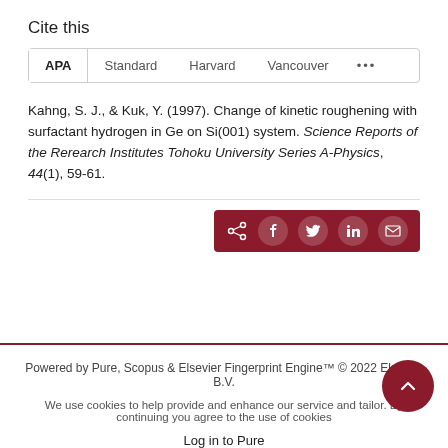Cite this
APA | Standard | Harvard | Vancouver | ...
Kahng, S. J., & Kuk, Y. (1997). Change of kinetic roughening with surfactant hydrogen in Ge on Si(001) system. Science Reports of the Rerearch Institutes Tohoku University Series A-Physics, 44(1), 59-61.
Powered by Pure, Scopus & Elsevier Fingerprint Engine™ © 2022 Elsevier B.V.
We use cookies to help provide and enhance our service and tailor. By continuing you agree to the use of cookies
Log in to Pure